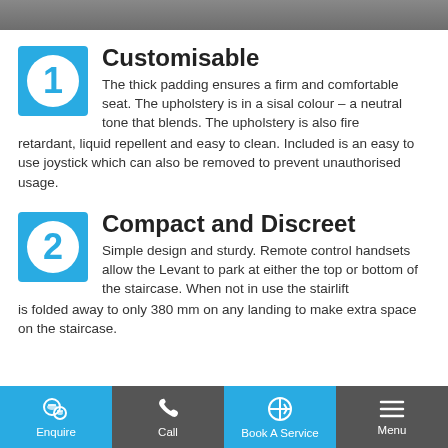[Figure (photo): Top partial image showing a dark/grey surface, partially cropped at top of page.]
Customisable
The thick padding ensures a firm and comfortable seat. The upholstery is in a sisal colour – a neutral tone that blends. The upholstery is also fire retardant, liquid repellent and easy to clean. Included is an easy to use joystick which can also be removed to prevent unauthorised usage.
Compact and Discreet
Simple design and sturdy. Remote control handsets allow the Levant to park at either the top or bottom of the staircase. When not in use the stairlift is folded away to only 380 mm on any landing to make extra space on the staircase.
Enquire  Call  Book A Service  Menu